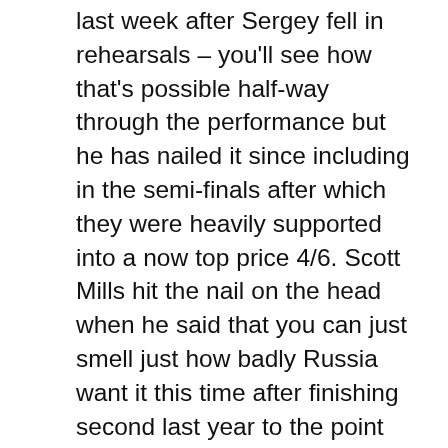last week after Sergey fell in rehearsals – you'll see how that's possible half-way through the performance but he has nailed it since including in the semi-finals after which they were heavily supported into a now top price 4/6. Scott Mills hit the nail on the head when he said that you can just smell just how badly Russia want it this time after finishing second last year to the point that it smacks of desperation and they have pulled out every stop throwing the kitchen sink at it attempting to record their second win with an accomplished performer who is very famous across all the ex-Russian states and a visually spectacular staging. The staging is my only slight niggle as some could see it as a rip off of last year. Their only victory was eight years ago and in the light of general bad publicity for their country in politics and drugs in sport, the Russian federation have clearly decided it's time. The hot favourites also couldn't have hand picked their draw better. It's not a draw by the way, they only draw for which half they appear in and then the host broadcaster and Eurovision bods decide exactly when they will perform